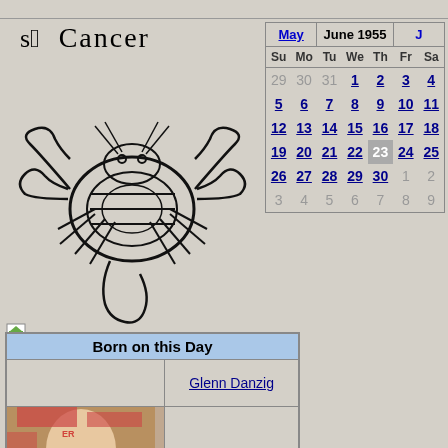[Figure (illustration): Cancer zodiac symbol with glyph and illustration of a crab/lobster in black ink woodcut style]
| Su | Mo | Tu | We | Th | Fr | Sa |
| --- | --- | --- | --- | --- | --- | --- |
| 29 | 30 | 31 | 1 | 2 | 3 | 4 |
| 5 | 6 | 7 | 8 | 9 | 10 | 11 |
| 12 | 13 | 14 | 15 | 16 | 17 | 18 |
| 19 | 20 | 21 | 22 | 23 | 24 | 25 |
| 26 | 27 | 28 | 29 | 30 | 1 | 2 |
| 3 | 4 | 5 | 6 | 7 | 8 | 9 |
| Born on this Day |
| --- |
| (photo) | Glenn Danzig |
| (photo Jordan) | Jordan |
| (photo Maggie) | Maggie Philbin |